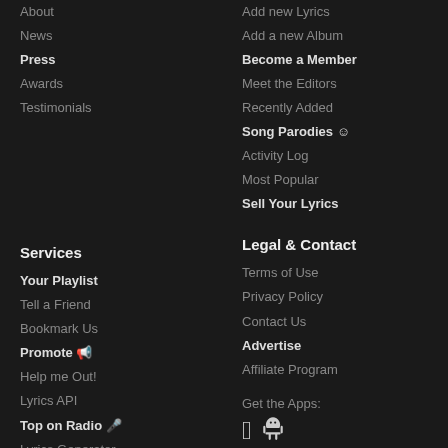About
News
Press
Awards
Testimonials
Add new Lyrics
Add a new Album
Become a Member
Meet the Editors
Recently Added
Song Parodies
Activity Log
Most Popular
Sell Your Lyrics
Services
Your Playlist
Tell a Friend
Bookmark Us
Promote
Help me Out!
Lyrics API
Top on Radio
Lyrics Generator
The Lyrics Quiz
Marketplace
Articles
Legal & Contact
Terms of Use
Privacy Policy
Contact Us
Advertise
Affiliate Program
Get the Apps: